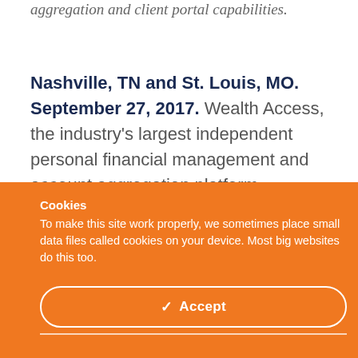aggregation and client portal capabilities.
Nashville, TN and St. Louis, MO. September 27, 2017. Wealth Access, the industry's largest independent personal financial management and account aggregation platform,
Cookies
To make this site work properly, we sometimes place small data files called cookies on your device. Most big websites do this too.
✓  Accept